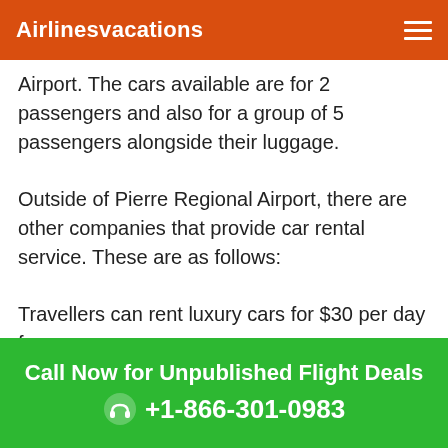Airlinesvacations
Airport. The cars available are for 2 passengers and also for a group of 5 passengers alongside their luggage.
Outside of Pierre Regional Airport, there are other companies that provide car rental service. These are as follows:
Travellers can rent luxury cars for $30 per day from
Call Now for Unpublished Flight Deals +1-866-301-0983